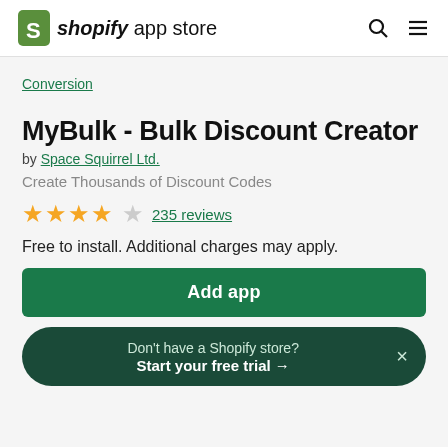shopify app store
Conversion
MyBulk - Bulk Discount Creator
by Space Squirrel Ltd.
Create Thousands of Discount Codes
★★★★☆ 235 reviews
Free to install. Additional charges may apply.
Add app
Don't have a Shopify store? Start your free trial →